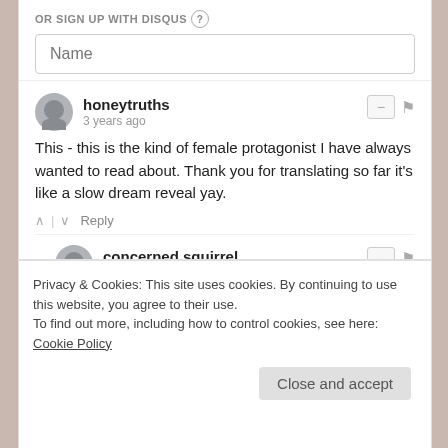OR SIGN UP WITH DISQUS ?
Name
honeytruths
3 years ago
This - this is the kind of female protagonist I have always wanted to read about. Thank you for translating so far it's like a slow dream reveal yay.
concerned squirrel
3 years ago
Thank you very much for translating this.
Privacy & Cookies: This site uses cookies. By continuing to use this website, you agree to their use.
To find out more, including how to control cookies, see here: Cookie Policy
Close and accept